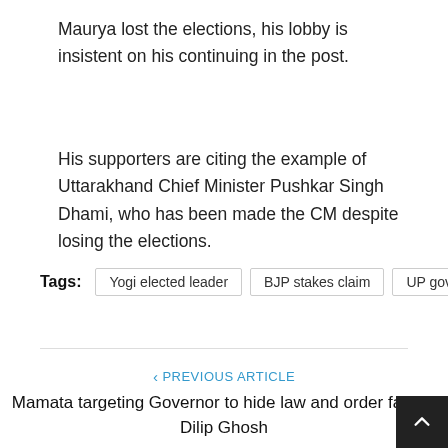Maurya lost the elections, his lobby is insistent on his continuing in the post.
His supporters are citing the example of Uttarakhand Chief Minister Pushkar Singh Dhami, who has been made the CM despite losing the elections.
Tags: Yogi elected leader | BJP stakes claim | UP govt
‹ PREVIOUS ARTICLE
Mamata targeting Governor to hide law and order failure: Dilip Ghosh